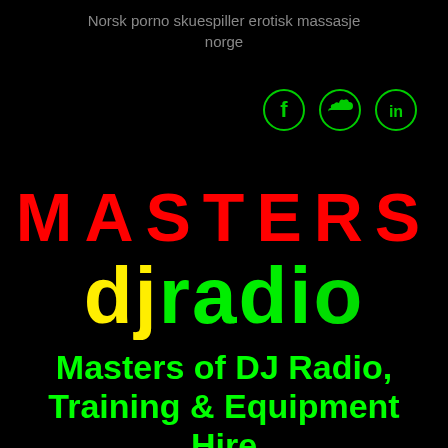Norsk porno skuespiller erotisk massasje norge
[Figure (logo): Three social media icons in green circles: Facebook (f), SoundCloud (cloud), LinkedIn (in)]
MASTERS djradio
Masters of DJ Radio, Training & Equipment Hire